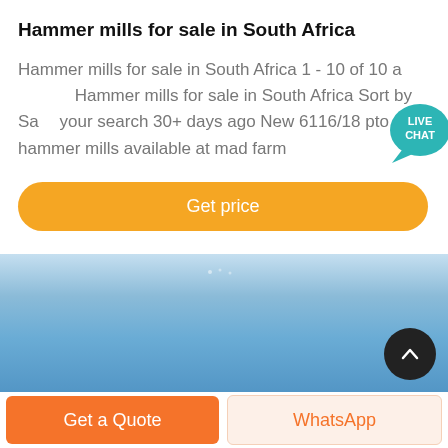Hammer mills for sale in South Africa
Hammer mills for sale in South Africa 1 - 10 of 10 a... Hammer mills for sale in South Africa Sort by Sa... your search 30+ days ago New 6116/18 pto hammer mills available at mad farm
Get price
[Figure (screenshot): Live chat bubble icon in teal color with 'LIVE CHAT' text]
[Figure (photo): Blue sky image strip at bottom of page]
Get a Quote
WhatsApp